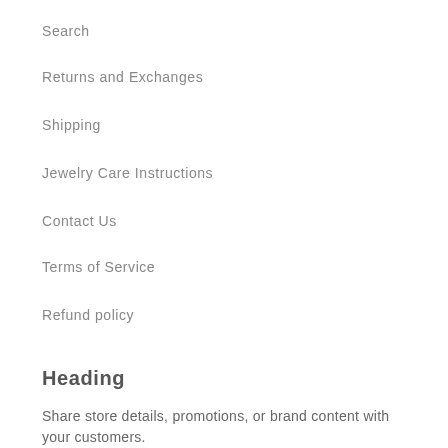Search
Returns and Exchanges
Shipping
Jewelry Care Instructions
Contact Us
Terms of Service
Refund policy
Heading
Share store details, promotions, or brand content with your customers.